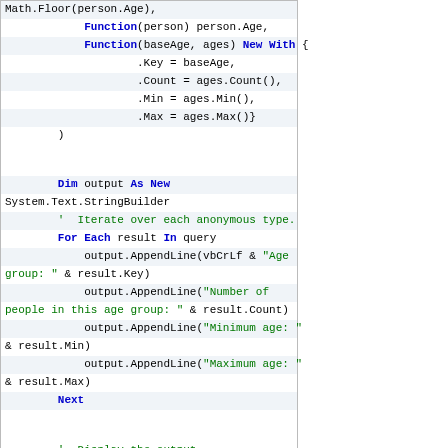VB.NET code snippet showing LINQ query with anonymous types, StringBuilder output, and For Each loop